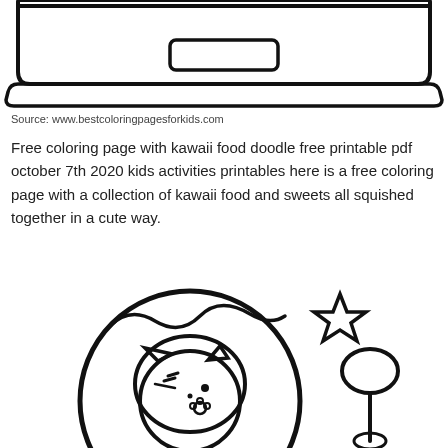[Figure (illustration): Bottom portion of a laptop computer outline drawing (coloring page style), showing the keyboard area and base of the laptop with thick black outlines on white background.]
Source: www.bestcoloringpagesforkids.com
Free coloring page with kawaii food doodle free printable pdf october 7th 2020 kids activities printables here is a free coloring page with a collection of kawaii food and sweets all squished together in a cute way.
[Figure (illustration): Kawaii coloring page illustration showing a cute cat character inside a donut, with a star shape and a spoon/mushroom character to the right. Black outline on white background, coloring book style.]